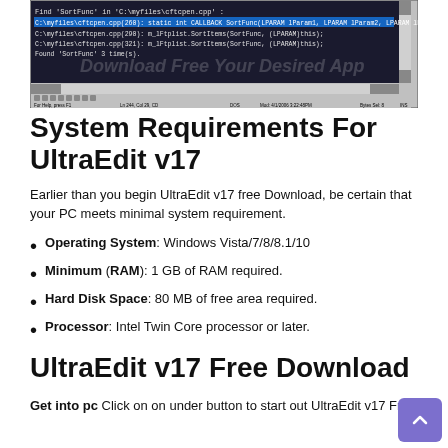[Figure (screenshot): Screenshot of UltraEdit code editor showing C++ source code with Find 'SortFunc' search results highlighted in blue, with toolbar and status bar visible.]
System Requirements For UltraEdit v17
Earlier than you begin UltraEdit v17 free Download, be certain that your PC meets minimal system requirement.
Operating System: Windows Vista/7/8/8.1/10
Minimum (RAM): 1 GB of RAM required.
Hard Disk Space: 80 MB of free area required.
Processor: Intel Twin Core processor or later.
UltraEdit v17 Free Download
Get into pc Click on on under button to start out UltraEdit v17 Free